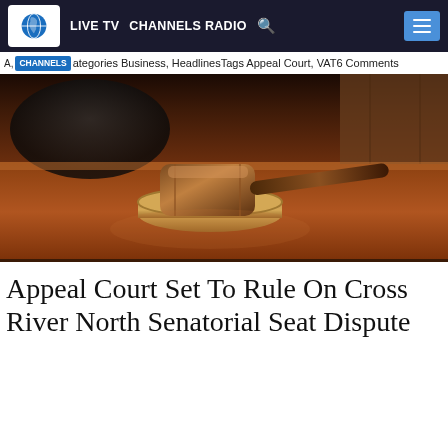LIVE TV  CHANNELS RADIO  [search]  [menu]
A, CHANNELS Categories Business, HeadlinesTags Appeal Court, VAT6 Comments
[Figure (photo): A wooden judge's gavel resting on its sound block on a dark wooden surface, with a leather chair visible in the background. Courtroom setting.]
Appeal Court Set To Rule On Cross River North Senatorial Seat Dispute